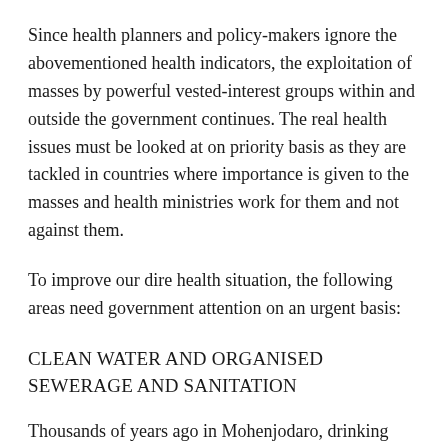Since health planners and policy-makers ignore the abovementioned health indicators, the exploitation of masses by powerful vested-interest groups within and outside the government continues. The real health issues must be looked at on priority basis as they are tackled in countries where importance is given to the masses and health ministries work for them and not against them.
To improve our dire health situation, the following areas need government attention on an urgent basis:
CLEAN WATER AND ORGANISED SEWERAGE AND SANITATION
Thousands of years ago in Mohenjodaro, drinking water was collected from the river away from the city sewerage. Sewerage was treated with limestone although, at the time, they knew nothing about bacteria, fungus, virus and parasites.